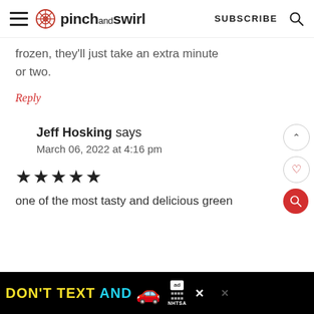pinch and swirl — SUBSCRIBE
frozen, they'll just take an extra minute or two.
Reply
Jeff Hosking says
March 06, 2022 at 4:16 pm
★★★★★
one of the most tasty and delicious green
[Figure (screenshot): Advertisement banner: DON'T TEXT AND [car emoji] ad NHTSA]